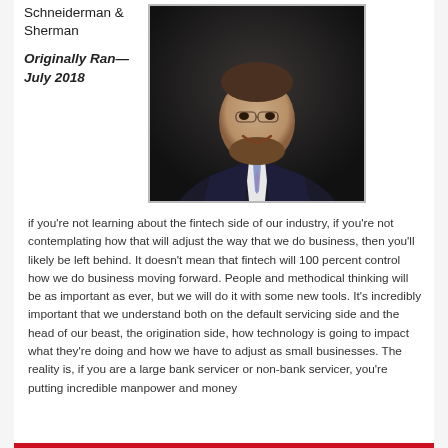Schneiderman & Sherman
Originally Ran—July 2018
[Figure (photo): Professional headshot of a man in a dark suit with a patterned tie, smiling, photographed against a dark background]
if you're not learning about the fintech side of our industry, if you're not contemplating how that will adjust the way that we do business, then you'll likely be left behind. It doesn't mean that fintech will 100 percent control how we do business moving forward. People and methodical thinking will be as important as ever, but we will do it with some new tools. It's incredibly important that we understand both on the default servicing side and the head of our beast, the origination side, how technology is going to impact what they're doing and how we have to adjust as small businesses. The reality is, if you are a large bank servicer or non-bank servicer, you're putting incredible manpower and money